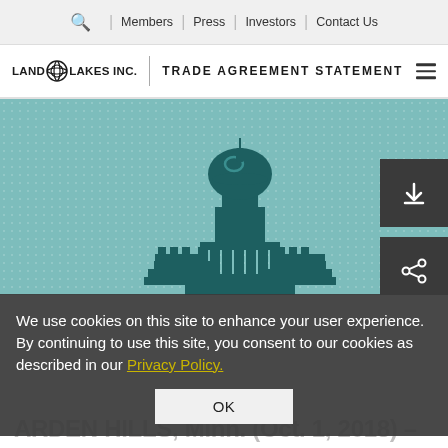Members | Press | Investors | Contact Us
LAND O LAKES INC. | TRADE AGREEMENT STATEMENT
[Figure (illustration): Stylized teal illustration of the United States Capitol building dome and columns on a dotted teal background, with dark grey download and share buttons on the right side.]
We use cookies on this site to enhance your user experience. By continuing to use this site, you consent to our cookies as described in our Privacy Policy.
OK
ARDEN HILLS, Minn. (Oct. 1, 2018) –